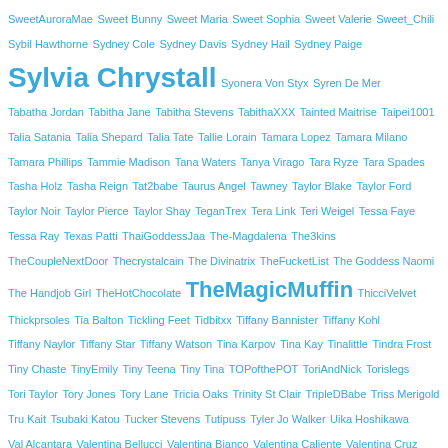SweetAuroraMae Sweet Bunny Sweet Maria Sweet Sophia Sweet Valerie Sweet_Chili Sybil Hawthorne Sydney Cole Sydney Davis Sydney Hail Sydney Paige Sylvia Chrystall Syonera Von Styx Syren De Mer Tabatha Jordan Tabitha Jane Tabitha Stevens TabithaXXX Tainted Maitrise Taipei1001 Talia Satania Talia Shepard Talia Tate Tallie Lorain Tamara Lopez Tamara Milano Tamara Phillips Tammie Madison Tana Waters Tanya Virago Tara Ryze Tara Spades Tasha Holz Tasha Reign Tat2babe Taurus Angel Tawney Taylor Blake Taylor Ford Taylor Noir Taylor Pierce Taylor Shay TeganTrex Tera Link Teri Weigel Tessa Faye Tessa Ray Texas Patti ThaiGoddessJaa The-Magdalena The3kins TheCoupleNextDoor Thecrystalcain The Divinatrix TheFucketList The Goddess Naomi The Handjob Girl TheHotChocolate TheMagicMuffin ThicciVelvet Thickprsoles Tia Balton Tickling Feet Tidbitxx Tiffany Bannister Tiffany Kohl Tiffany Naylor Tiffany Star Tiffany Watson Tina Karpov Tina Kay Tinalittle Tindra Frost Tiny Chaste TinyEmily Tiny Teena Tiny Tina TOPofthePOT ToriAndNick Torislegs Tori Taylor Tory Jones Tory Lane Tricia Oaks Trinity St Clair TripleDBabe Triss Merigold Tru Kait Tsubaki Katou Tucker Stevens Tutipuss Tyler Jo Walker Uika Hoshikawa Val Alcantara Valentina Bellucci Valentina Bianco Valentina Caliente Valentina Cruz Valentina Nappi Valeria Jones Valerica Steele Valerie Ann Valerie Damiana ValhallasPet Vanessa Cage Vanessa Luna Vanessa Secret Vanessa Sierra Vanessa Sky Vanessa Vega Vanity Rose Vanna Bardot Vanya Vixen